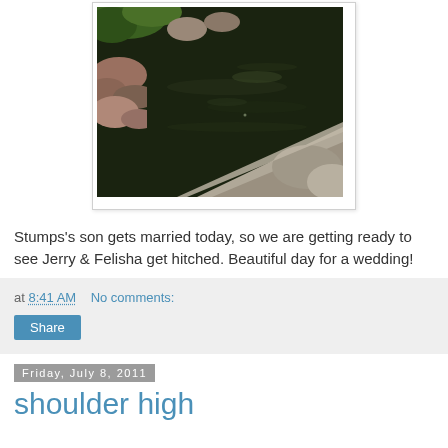[Figure (photo): Photo of a dark pond or water feature with rocks and stones around the edges, greenery visible in upper left corner, rocky surface visible in lower right. Photo is in a white frame with slight shadow.]
Stumps's son gets married today, so we are getting ready to see Jerry & Felisha get hitched. Beautiful day for a wedding!
at 8:41 AM   No comments:
Share
Friday, July 8, 2011
shoulder high